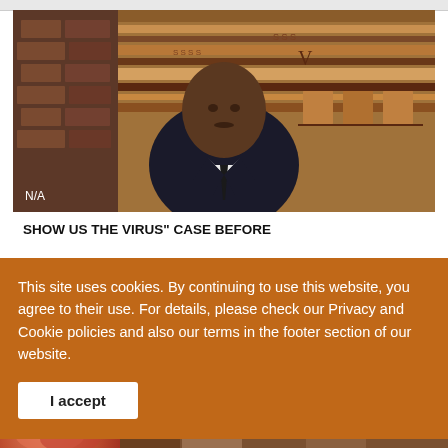[Figure (screenshot): Video still of a man in a dark suit and tie, seated against a decorative tapestry/rug background with brick wall visible. Label 'N/A' in bottom left of video frame.]
SHOW US THE VIRUS" CASE BEFORE
This site uses cookies. By continuing to use this website, you agree to their use. For details, please check our Privacy and Cookie policies and also our terms in the footer section of our website.
I accept